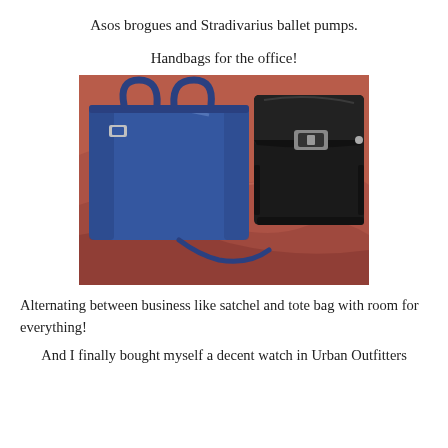Asos brogues and Stradivarius ballet pumps.
Handbags for the office!
[Figure (photo): Two handbags on a red/pink draped fabric surface: a large blue tote bag on the left and a black structured satchel with buckle on the right.]
Alternating between business like satchel and tote bag with room for everything!
And I finally bought myself a decent watch in Urban Outfitters